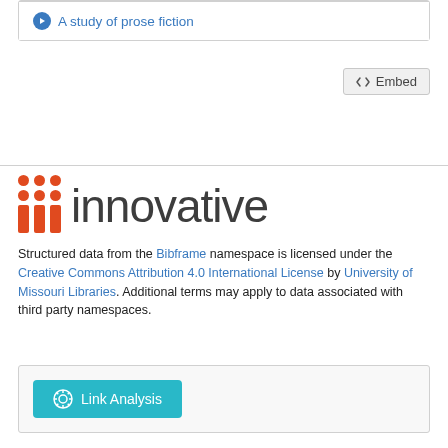A study of prose fiction
<> Embed
[Figure (logo): Innovative Interfaces logo with three red columns of dots and the word 'innovative' in dark gray]
Structured data from the Bibframe namespace is licensed under the Creative Commons Attribution 4.0 International License by University of Missouri Libraries. Additional terms may apply to data associated with third party namespaces.
Link Analysis